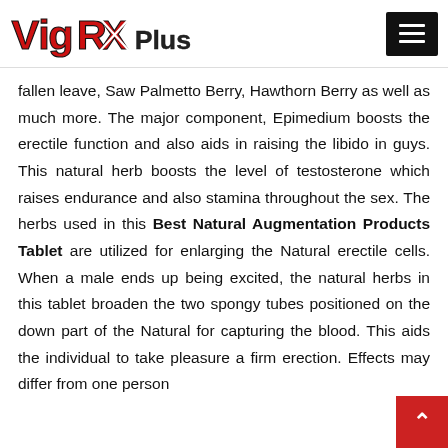VigRX Plus
fallen leave, Saw Palmetto Berry, Hawthorn Berry as well as much more. The major component, Epimedium boosts the erectile function and also aids in raising the libido in guys. This natural herb boosts the level of testosterone which raises endurance and also stamina throughout the sex. The herbs used in this Best Natural Augmentation Products Tablet are utilized for enlarging the Natural erectile cells. When a male ends up being excited, the natural herbs in this tablet broaden the two spongy tubes positioned on the down part of the Natural for capturing the blood. This aids the individual to take pleasure a firm erection. Effects may differ from one person